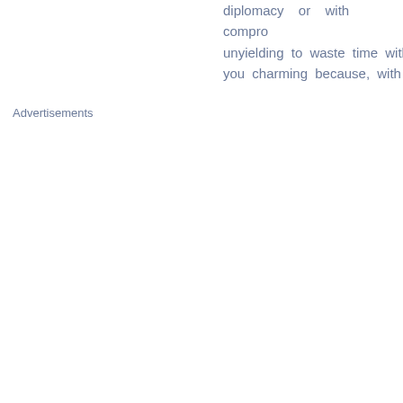diplomacy or with compro unyielding to waste time with you charming because, with y
Advertisements